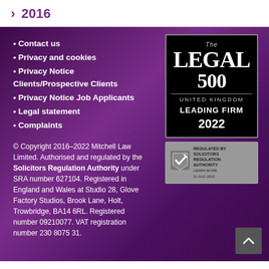› 2016
Contact us
Privacy and cookies
Privacy Notice Clients/Prospective Clients
Privacy Notice Job Applicants
Legal statement
Complaints
© Copyright 2016–2022 Mitchell Law Limited. Authorised and regulated by the Solicitors Regulation Authority under SRA number 627104. Registered in England and Wales at Studio 28, Glove Factory Studios, Brook Lane, Holt, Trowbridge, BA14 6RL. Registered number 09210077. VAT registration number 230 8075 31.
[Figure (logo): The Legal 500 United Kingdom Leading Firm 2022 badge on black background]
[Figure (logo): Solicitors Regulation Authority badge with shield icon]